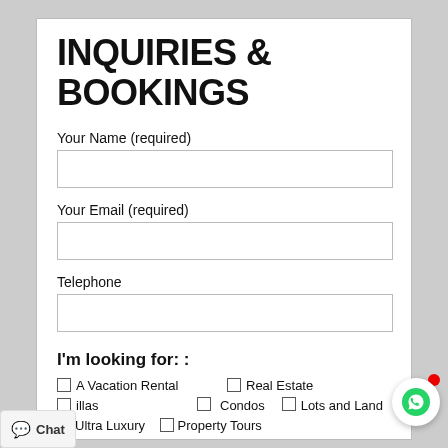INQUIRIES & BOOKINGS
Your Name (required)
Your Email (required)
Telephone
I'm looking for: :
☐ A Vacation Rental   ☐ Real Estate
☐ Villas   ☐ Condos   ☐ Lots and Land
☐ Ultra Luxury   ☐ Property Tours